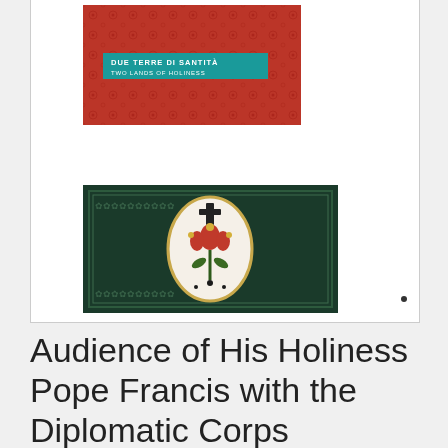[Figure (illustration): Top book cover: red patterned background with teal banner reading 'DUE TERRE DI SANTITÀ / TWO LANDS OF HOLINESS']
[Figure (illustration): Bottom book cover: dark green background with ornate border pattern and central oval medallion featuring a cross and floral embroidery design in red, green, and gold]
Audience of His Holiness Pope Francis with the Diplomatic Corps accredited to the Holy See